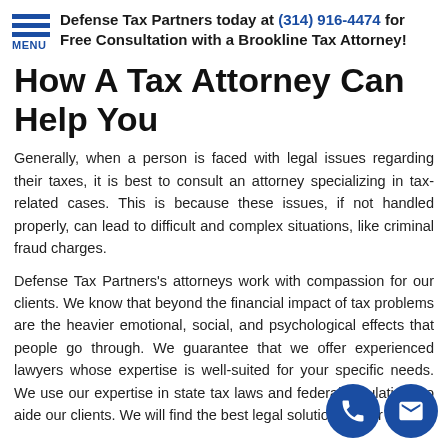Defense Tax Partners today at (314) 916-4474 for Free Consultation with a Brookline Tax Attorney!
How A Tax Attorney Can Help You
Generally, when a person is faced with legal issues regarding their taxes, it is best to consult an attorney specializing in tax-related cases. This is because these issues, if not handled properly, can lead to difficult and complex situations, like criminal fraud charges.
Defense Tax Partners's attorneys work with compassion for our clients. We know that beyond the financial impact of tax problems are the heavier emotional, social, and psychological effects that people go through. We guarantee that we offer experienced lawyers whose expertise is well-suited for your specific needs. We use our expertise in state tax laws and federal regulations to aide our clients. We will find the best legal solution for our